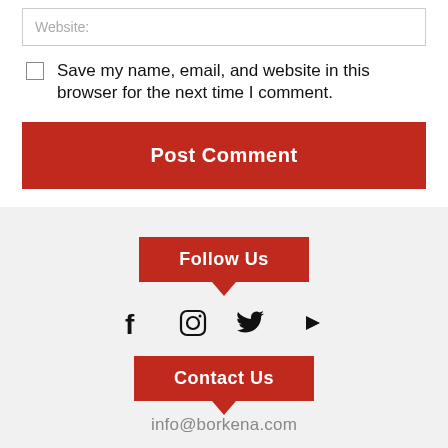Website:
Save my name, email, and website in this browser for the next time I comment.
Post Comment
Follow Us
[Figure (infographic): Social media icons: Facebook, Instagram, Twitter, YouTube]
Contact Us
info@borkena.com
Search in Site